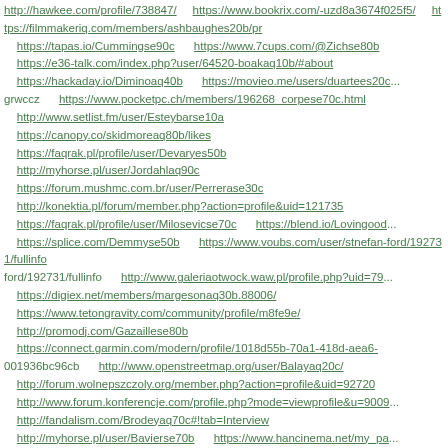http://hawkee.com/profile/738847/ https://www.bookrix.com/-uzd8a3674f025f5/ https://filmmakeriq.com/members/ashbaughes20b/pr https://tapas.io/Cummingse90c https://www.7cups.com/@Zichse80b https://e36-talk.com/index.php?user/64520-boakaq10b/#about https://hackaday.io/Diminoaq40b https://movieo.me/users/duartees20... grwccz https://www.pocketpc.ch/members/196268_corpese70c.html http://www.setlist.fm/user/Esteybarse10a https://canopy.co/skidmoreaq80b/likes https://faqrak.pl/profile/user/Devaryes50b http://myhorse.pl/user/Jordahlaq90c https://forum.mushmc.com.br/user/Perrerase30c http://konektia.pl/forum/member.php?action=profile&uid=121735 https://faqrak.pl/profile/user/Milosevicse70c https://blend.io/Lovingood... https://splice.com/Demmyse50b https://www.voubs.com/user/stnefan-ford/192731/fullinfo http://www.galeriaotwock.waw.pl/profile.php?uid=79... https://digiex.net/members/margesonaq30b.88006/ https://www.tetongravity.com/community/profile/m8fe9e/ http://promodj.com/Gazaillese80b https://connect.garmin.com/modern/profile/1018d55b-70a1-418d-aea6-001936bc96cb http://www.openstreetmap.org/user/Balayaq20c/ http://forum.wolnepszczoly.org/member.php?action=profile&uid=92720 http://www.forum.konferencje.com/profile.php?mode=viewprofile&u=9009... http://fandalism.com/Brodeyaq70c#!tab=Interview http://myhorse.pl/user/Bavierse70b https://www.hancinema.net/my_pa... member=186600 http://lookbook.nu/Teasdalees80b http://www.memecenter.com/Arrochase80c https://www.askmefast.com/categorydetail.php?cmd=ulist&userid=21005... https://forums.modmy.com/members/3973557.html http://www.digthedirt.com/users/1015671-straubeaq10c http://atlas.dustforce.com/user/Penninose70b